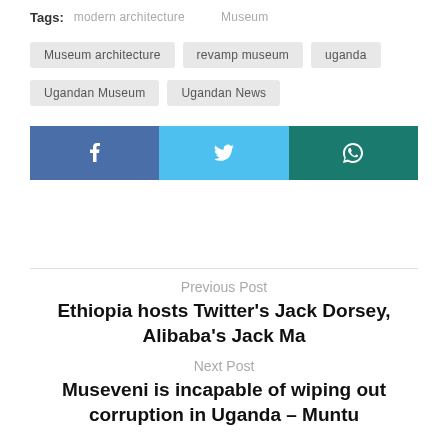Tags: modern architecture  Museum  Museum architecture  revamp museum  uganda  Ugandan Museum  Ugandan News
[Figure (infographic): Three social media share buttons: Facebook (blue), Twitter (light blue), WhatsApp (dark teal), each with respective icon]
Previous Post
Ethiopia hosts Twitter's Jack Dorsey, Alibaba's Jack Ma
Next Post
Museveni is incapable of wiping out corruption in Uganda – Muntu